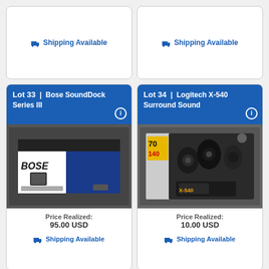🚚 Shipping Available
🚚 Shipping Available
Lot 33 | Bose SoundDock Series III
[Figure (photo): Bose SoundDock Series III speaker dock in retail box]
Price Realized: 95.00 USD
🚚 Shipping Available
Lot 34 | Logitech X-540 Surround Sound
[Figure (photo): Logitech X-540 Surround Sound speaker system in retail box]
Price Realized: 10.00 USD
🚚 Shipping Available